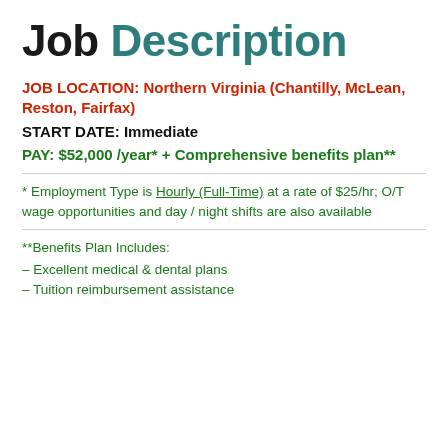Job Description
JOB LOCATION: Northern Virginia (Chantilly, McLean, Reston, Fairfax)
START DATE: Immediate
PAY: $52,000 /year* + Comprehensive benefits plan**
* Employment Type is Hourly (Full-Time) at a rate of $25/hr; O/T wage opportunities and day / night shifts are also available
**Benefits Plan Includes:
- Excellent medical & dental plans
- Tuition reimbursement assistance